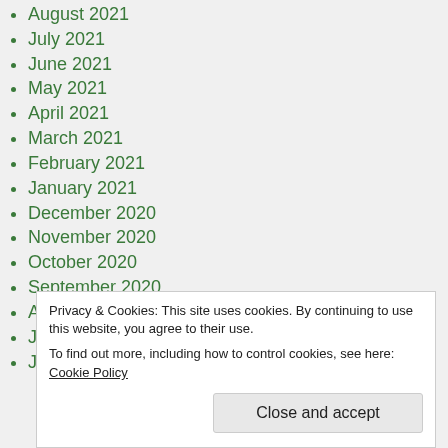August 2021
July 2021
June 2021
May 2021
April 2021
March 2021
February 2021
January 2021
December 2020
November 2020
October 2020
September 2020
August 2020
July 2020
June 2020
November 2019
Privacy & Cookies: This site uses cookies. By continuing to use this website, you agree to their use. To find out more, including how to control cookies, see here: Cookie Policy